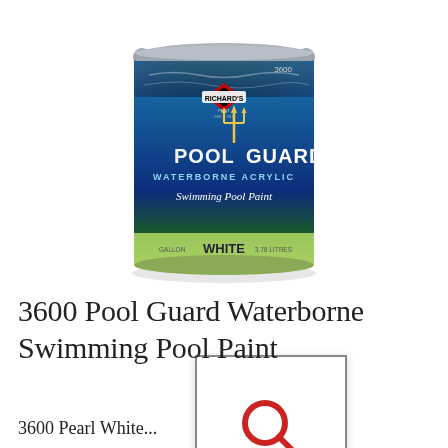[Figure (photo): A gallon paint can of Richard's Paint 'Pool Guard Waterborne Acrylic Swimming Pool Paint' in White (3600 series). The can has a blue underwater/aquatic themed label with the Pool Guard branding and a trident logo, and the bottom shows 'WHITE' on a light green band.]
3600 Pool Guard Waterborne Swimming Pool Paint
3600 Pearl White...